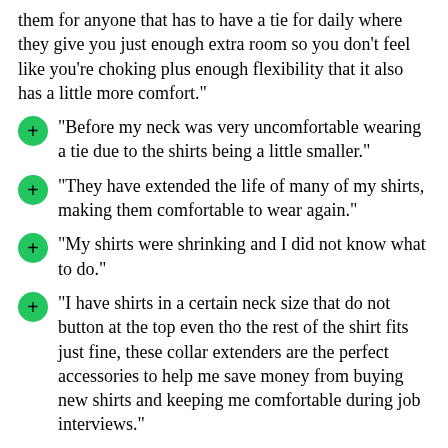them for anyone that has to have a tie for daily where they give you just enough extra room so you don’t feel like you’re choking plus enough flexibility that it also has a little more comfort."
"Before my neck was very uncomfortable wearing a tie due to the shirts being a little smaller."
"They have extended the life of many of my shirts, making them comfortable to wear again."
"My shirts were shrinking and I did not know what to do."
"I have shirts in a certain neck size that do not button at the top even tho the rest of the shirt fits just fine, these collar extenders are the perfect accessories to help me save money from buying new shirts and keeping me comfortable during job interviews."
"product arrived on time as promised."
"My shirts are just a little tight at the neck so that they chafe a bit."
"The extenders really work."